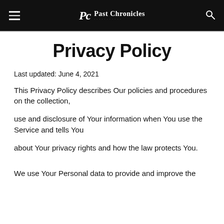Pc Past Chronicles
Privacy Policy
Last updated: June 4, 2021
This Privacy Policy describes Our policies and procedures on the collection,
use and disclosure of Your information when You use the Service and tells You
about Your privacy rights and how the law protects You.
We use Your Personal data to provide and improve the